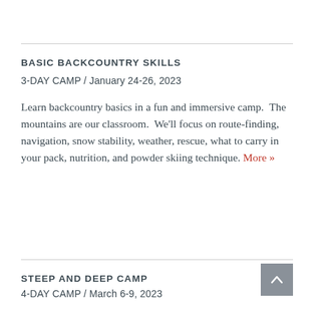BASIC BACKCOUNTRY SKILLS
3-DAY CAMP / January 24-26, 2023
Learn backcountry basics in a fun and immersive camp.  The mountains are our classroom.  We'll focus on route-finding, navigation, snow stability, weather, rescue, what to carry in your pack, nutrition, and powder skiing technique. More »
STEEP AND DEEP CAMP
4-DAY CAMP / March 6-9, 2023